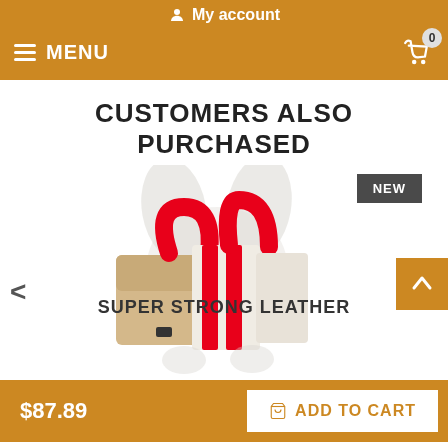My account
MENU
CUSTOMERS ALSO PURCHASED
[Figure (photo): Product photo of a beige and red handbag/organizer on a white dog-shaped display stand. A dark grey badge labeled NEW is shown to the upper right of the product.]
NEW
< (left navigation arrow)
> (right navigation arrow)
SUPER STRONG LEATHER (partially visible product name)
$87.89
ADD TO CART